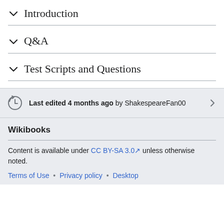Introduction
Q&A
Test Scripts and Questions
Last edited 4 months ago by ShakespeareFan00
Wikibooks
Content is available under CC BY-SA 3.0 unless otherwise noted.
Terms of Use • Privacy policy • Desktop